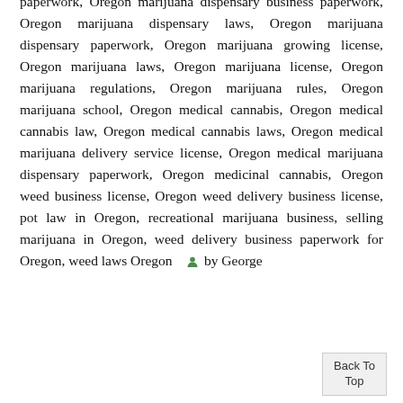paperwork, Oregon marijuana dispensary business paperwork, Oregon marijuana dispensary laws, Oregon marijuana dispensary paperwork, Oregon marijuana growing license, Oregon marijuana laws, Oregon marijuana license, Oregon marijuana regulations, Oregon marijuana rules, Oregon marijuana school, Oregon medical cannabis, Oregon medical cannabis law, Oregon medical cannabis laws, Oregon medical marijuana delivery service license, Oregon medical marijuana dispensary paperwork, Oregon medicinal cannabis, Oregon weed business license, Oregon weed delivery business license, pot law in Oregon, recreational marijuana business, selling marijuana in Oregon, weed delivery business paperwork for Oregon, weed laws Oregon   by George